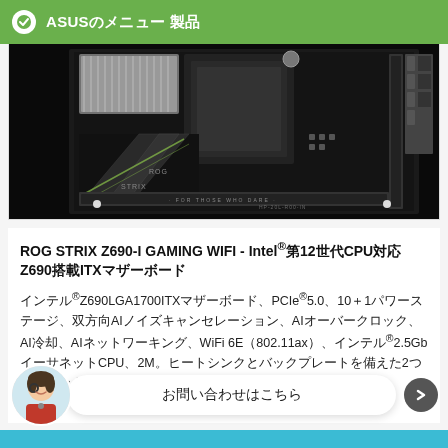ASUSのメニュー 製品
[Figure (photo): ROG STRIX Z690-I GAMING WIFI motherboard product photo showing black ITX motherboard with ROG branding, heatsinks, and various connectors against dark background]
ROG STRIX Z690-I GAMING WIFI - Intel®第12世代CPU対応 Z690搭載ITXマザーボード
インテル®Z690LGA1700ITXマザーボード、PCIe®5.0、10＋1パワーステージ、双方向AIノイズキャンセレーション、AIオーバークロック、AI冷却、AIネットワーキング、WiFi 6E（802.11ax）、インテル®2.5GbイーサネットCPU、2M。ヒートシンクとバックプレートを備えた2つのスロット、2つのThund 明
お問い合わせはこちら